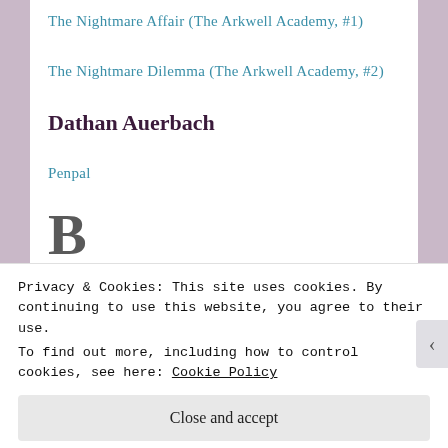The Nightmare Affair (The Arkwell Academy, #1)
The Nightmare Dilemma (The Arkwell Academy, #2)
Dathan Auerbach
Penpal
B
Leigh Bardugo
Privacy & Cookies: This site uses cookies. By continuing to use this website, you agree to their use.
To find out more, including how to control cookies, see here: Cookie Policy
Close and accept